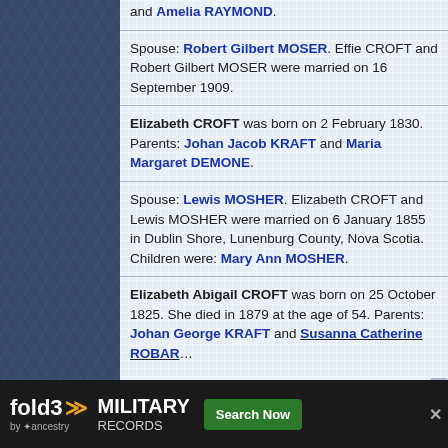and Amelia RAYMOND.
Spouse: Robert Gilbert MOSER. Effie CROFT and Robert Gilbert MOSER were married on 16 September 1909.
Elizabeth CROFT was born on 2 February 1830. Parents: Johan Jacob KRAFT and Maria Margaret DEMONE.
Spouse: Lewis MOSHER. Elizabeth CROFT and Lewis MOSHER were married on 6 January 1855 in Dublin Shore, Lunenburg County, Nova Scotia. Children were: Mary Ann MOSHER.
Elizabeth Abigail CROFT was born on 25 October 1825. She died in 1879 at the age of 54. Parents: Johan George KRAFT and Susanna Catherine ROBAR.
[Figure (other): fold3 by Ancestry advertisement banner: MILITARY RECORDS, Search Now button]